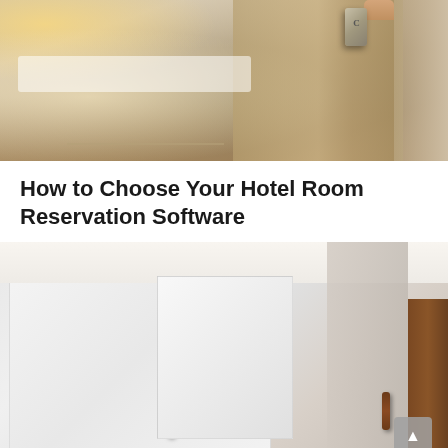[Figure (photo): Hotel room photo showing a bed with white linens, wooden floor, warm lamp light on the left, and a person's hand holding a keycard/electronic door lock on the right side near a wooden door panel. Curtains visible in background.]
How to Choose Your Hotel Room Reservation Software
[Figure (photo): Hotel interior photo showing white frosted glass panels/doors with dark brown wooden door handles, white walls, and a partial view of what appears to be a bathroom or wardrobe area. A scroll-to-top button is visible in the bottom right corner.]